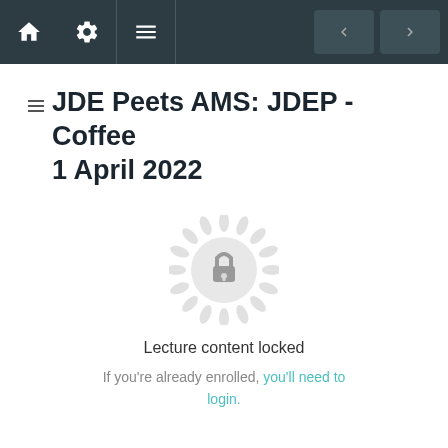Navigation bar with home, settings, menu icons and prev/next buttons
JDE Peets AMS: JDEP - Coffee
1 April 2022
[Figure (illustration): A decorative mandala/rosette circle with a padlock icon in the center, rendered in light grey, indicating locked content]
Lecture content locked
If you're already enrolled, you'll need to login.